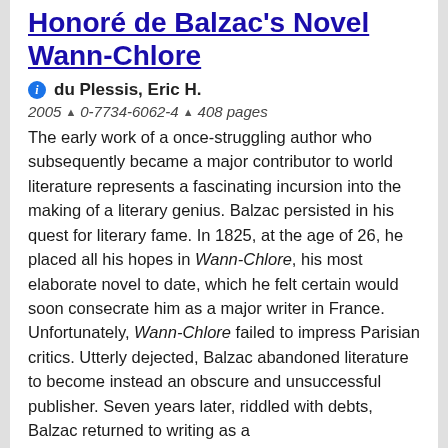Honoré de Balzac's Novel Wann-Chlore
du Plessis, Eric H.
2005 ▲ 0-7734-6062-4 ▲ 408 pages
The early work of a once-struggling author who subsequently became a major contributor to world literature represents a fascinating incursion into the making of a literary genius. Balzac persisted in his quest for literary fame. In 1825, at the age of 26, he placed all his hopes in Wann-Chlore, his most elaborate novel to date, which he felt certain would soon consecrate him as a major writer in France. Unfortunately, Wann-Chlore failed to impress Parisian critics. Utterly dejected, Balzac abandoned literature to become instead an obscure and unsuccessful publisher. Seven years later, riddled with debts, Balzac returned to writing as a